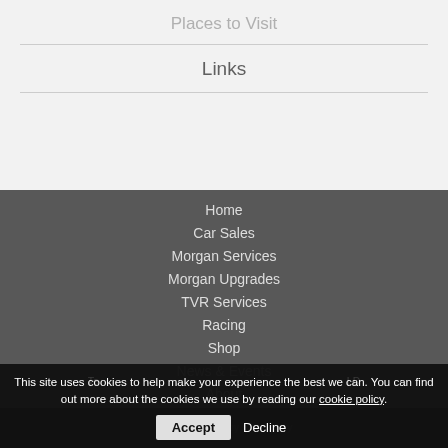Places to Visit
Links
Home
Car Sales
Morgan Services
Morgan Upgrades
TVR Services
Racing
Shop
News & Events
About
Contact
This site uses cookies to help make your experience the best we can. You can find out more about the cookies we use by reading our cookie policy.
Website Design by Webfactory